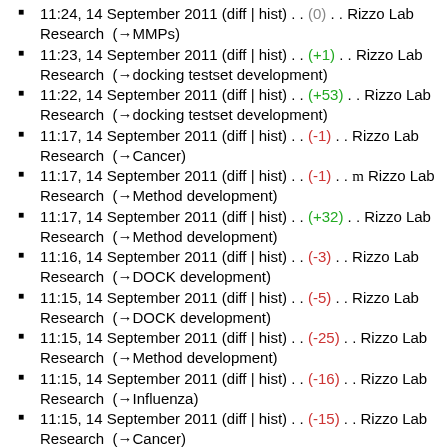11:24, 14 September 2011 (diff | hist) . . (0) . . Rizzo Lab Research (→MMPs)
11:23, 14 September 2011 (diff | hist) . . (+1) . . Rizzo Lab Research (→docking testset development)
11:22, 14 September 2011 (diff | hist) . . (+53) . . Rizzo Lab Research (→docking testset development)
11:17, 14 September 2011 (diff | hist) . . (-1) . . Rizzo Lab Research (→Cancer)
11:17, 14 September 2011 (diff | hist) . . (-1) . . m Rizzo Lab Research (→Method development)
11:17, 14 September 2011 (diff | hist) . . (+32) . . Rizzo Lab Research (→Method development)
11:16, 14 September 2011 (diff | hist) . . (-3) . . Rizzo Lab Research (→DOCK development)
11:15, 14 September 2011 (diff | hist) . . (-5) . . Rizzo Lab Research (→DOCK development)
11:15, 14 September 2011 (diff | hist) . . (-25) . . Rizzo Lab Research (→Method development)
11:15, 14 September 2011 (diff | hist) . . (-16) . . Rizzo Lab Research (→Influenza)
11:15, 14 September 2011 (diff | hist) . . (-15) . . Rizzo Lab Research (→Cancer)
11:14, 14 September 2011 (diff | hist) . . (-16) . . Rizzo Lab Research (→HIV/AIDS)
11:13, 14 September 2011 (diff | hist) . . (+1,252) . . Rizzo Lab